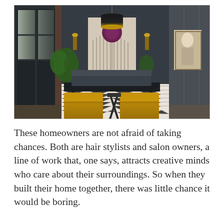[Figure (photo): Interior room photo showing a moody dark-walled study or lounge with charcoal/dark grey walls and ceiling, large windows with dark frames on the left, a black pendant light fixture with gold interior, two mustard/yellow upholstered chairs in the foreground, a dark desk or table, a large abstract wall hanging with a purple circular element and fringe, gold wall sconces, a tropical plant, and a framed portrait on the right wall. The floor has a black and white chevron/herringbone pattern rug.]
These homeowners are not afraid of taking chances. Both are hair stylists and salon owners, a line of work that, one says, attracts creative minds who care about their surroundings. So when they built their home together, there was little chance it would be boring.